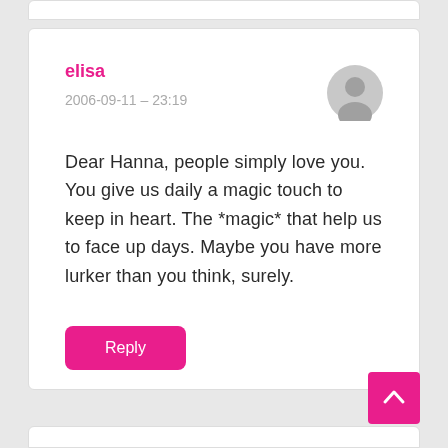elisa
2006-09-11 – 23:19
Dear Hanna, people simply love you. You give us daily a magic touch to keep in heart. The *magic* that help us to face up days. Maybe you have more lurker than you think, surely.
Reply